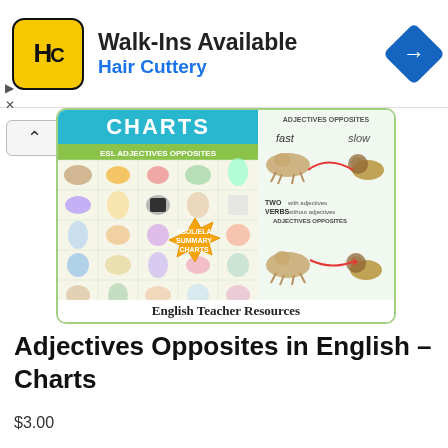[Figure (other): Hair Cuttery advertisement banner with logo, 'Walk-Ins Available' headline, 'Hair Cuttery' company name in blue, and a blue navigation diamond icon]
[Figure (illustration): Thumbnail image of an educational chart titled 'Adjectives Opposites in English - Charts' showing illustrated adjective opposites (fast/slow with animal images) and a grid of illustrated adjective pairs. Footer reads 'English Teacher Resources'. Contains a starburst label reading 'ESOL/ELA SUMMARY CHARTS'.]
Adjectives Opposites in English – Charts
$3.00